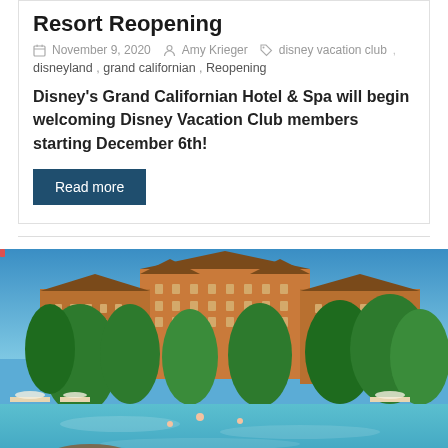Resort Reopening
November 9, 2020  Amy Krieger  disney vacation club, disneyland, grand californian, Reopening
Disney's Grand Californian Hotel & Spa will begin welcoming Disney Vacation Club members starting December 6th!
Read more
[Figure (photo): Aerial view of a large resort hotel with wooden Craftsman-style architecture surrounded by tropical palm trees, with a large swimming pool in the foreground filled with guests. The hotel has multiple stories with peaked rooflines. Blue sky in background.]